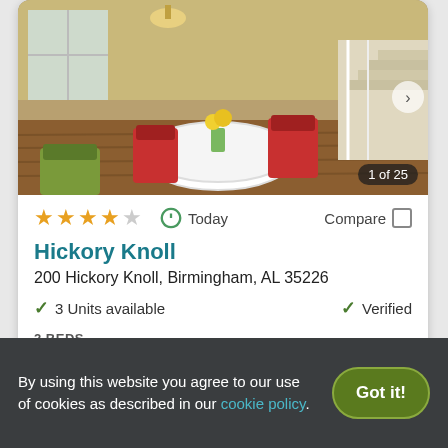[Figure (photo): Interior room photo showing a living/dining area with a round white table, red chairs, green chairs, flowers, hardwood floors, and stairs in the background. Counter shows 1 of 25.]
★★★★☆  Today  Compare
Hickory Knoll
200 Hickory Knoll, Birmingham, AL 35226
✓ 3 Units available    ✓ Verified
2 BEDS
$980+
View Details   Contact Property
By using this website you agree to our use of cookies as described in our cookie policy.   Got it!